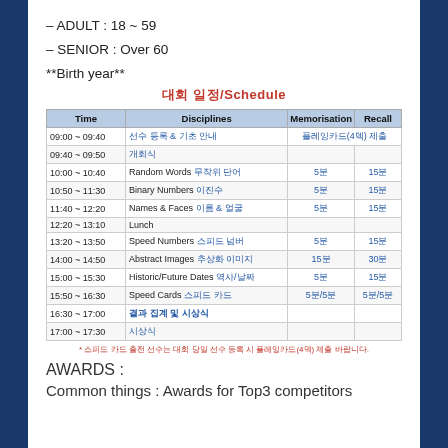– ADULT : 18 ~ 59
– SENIOR : Over 60
**Birth year**
대회 일정/Schedule
| Time | Disciplines | Memorisation | Recall |
| --- | --- | --- | --- |
| 09:00 ~ 09:40 | 선수 등록 & 기초 안내 | 플레잉카드(4덱) 제출 |  |
| 09:40 ~ 09:50 | 개회식 |  |  |
| 10:00 ~ 10:40 | Random Words 무작위 단어 | 5분 | 15분 |
| 10:50 ~ 11:30 | Binary Numbers 이진수 | 5분 | 15분 |
| 11:40 ~ 12:20 | Names & Faces 이름 & 얼굴 | 5분 | 15분 |
| 12:20 ~ 13:10 | Lunch |  |  |
| 13:20 ~ 13:50 | Speed Numbers 스피드 넘버 | 5분 | 15분 |
| 14:00 ~ 14:50 | Abstract Images 추상화 이미지 | 15분 | 30분 |
| 15:00 ~ 15:30 | Historic/Future Dates 역사/날짜 | 5분 | 15분 |
| 15:50 ~ 16:30 | Speed Cards 스피드 카드 | 5분/5분 | 5분/5분 |
| 16:30 ~ 17:00 | 결과 집계 및 시상식 |  |  |
| 17:00 ~ 17:30 | 시상식 |  |  |
* 스피드 카드 출전 선수는 대회 당일 선수 등록 시 플레잉카드(4덱) 제출 바랍니다.
AWARDS :
Common things : Awards for Top3 competitors